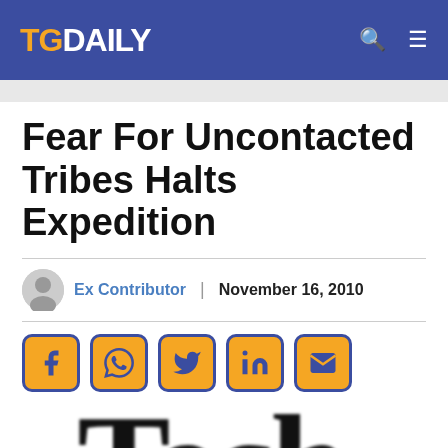TG DAILY
Fear For Uncontacted Tribes Halts Expedition
Ex Contributor | November 16, 2010
[Figure (illustration): Large blurred serif text reading 'Tech' in black, cropped at bottom of article page]
Tech